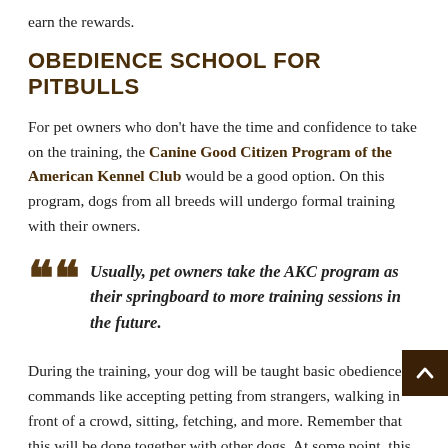earn the rewards.
OBEDIENCE SCHOOL FOR PITBULLS
For pet owners who don't have the time and confidence to take on the training, the Canine Good Citizen Program of the American Kennel Club would be a good option. On this program, dogs from all breeds will undergo formal training with their owners.
Usually, pet owners take the AKC program as their springboard to more training sessions in the future.
During the training, your dog will be taught basic obedience commands like accepting petting from strangers, walking in front of a crowd, sitting, fetching, and more. Remember that this will be done together with other dogs. At some point, this also allows your Pitbull to socialize and